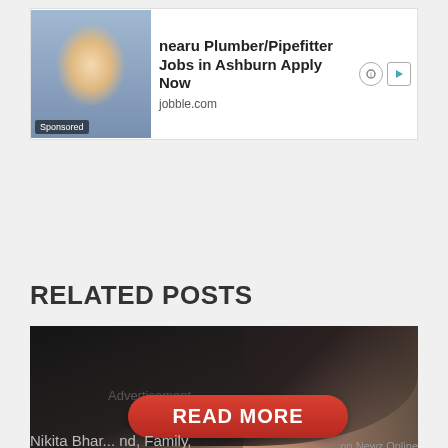[Figure (photo): Sponsored ad banner with photo of a worker in plaid shirt and helmet; text: 'nearu Plumber/Pipefitter Jobs in Ashburn Apply Now' from jobble.com]
RELATED POSTS
[Figure (photo): Photo of a young woman with dark hair, smiling slightly, outdoors background]
Advertisement
READ MORE
Nikita Bha... nd, Family, Biography &... on Newz Online